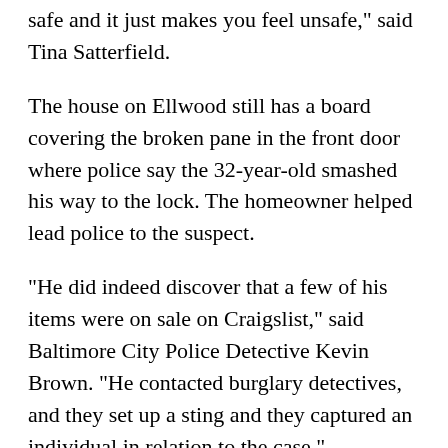I was very concerned. The neighborhood is fairly safe and it just makes you feel unsafe," said Tina Satterfield.
The house on Ellwood still has a board covering the broken pane in the front door where police say the 32-year-old smashed his way to the lock. The homeowner helped lead police to the suspect.
"He did indeed discover that a few of his items were on sale on Craigslist," said Baltimore City Police Detective Kevin Brown. "He contacted burglary detectives, and they set up a sting and they captured an individual in relation to the case."
An undercover detective arranged to buy a $700 camera the victim believed was his. When Meseke met the officer in Canton with the stolen goods, he